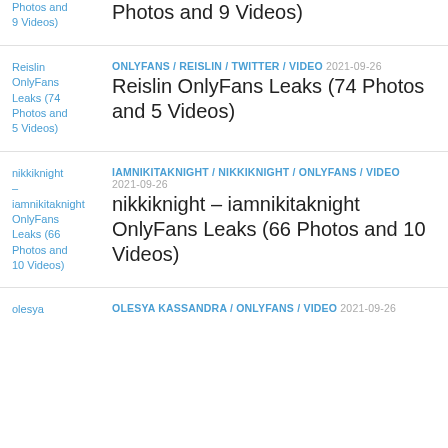Photos and 9 Videos) — partial entry at top
Reislin OnlyFans Leaks (74 Photos and 5 Videos) — ONLYFANS / REISLIN / TWITTER / VIDEO 2021-09-26
nikkiknight – iamnikitaknight OnlyFans Leaks (66 Photos and 10 Videos) — IAMNIKITAKNIGHT / NIKKIKNIGHT / ONLYFANS / VIDEO 2021-09-26
OLESYA KASSANDRA / ONLYFANS / VIDEO 2021-09-26 — partial entry at bottom